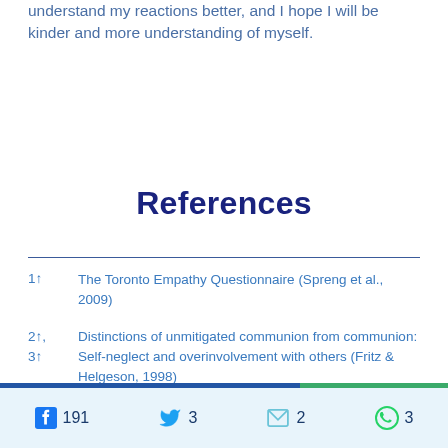understand my reactions better, and I hope I will be kinder and more understanding of myself.
References
1↑  The Toronto Empathy Questionnaire (Spreng et al., 2009)
2↑, 3↑  Distinctions of unmitigated communion from communion: Self-neglect and overinvolvement with others (Fritz & Helgeson, 1998)
191  3  2  3